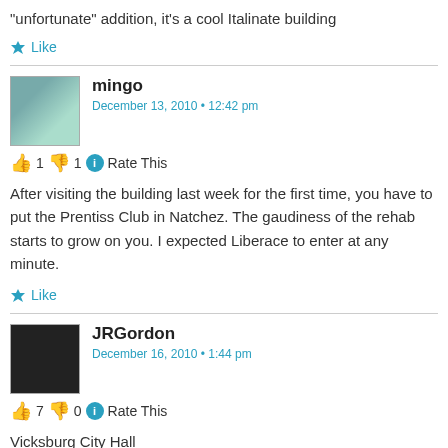"unfortunate" addition, it's a cool Italinate building
★ Like
mingo
December 13, 2010 • 12:42 pm
👍 1 👎 1 ℹ Rate This
After visiting the building last week for the first time, you have to put the Prentiss Club in Natchez. The gaudiness of the rehab starts to grow on you. I expected Liberace to enter at any minute.
★ Like
JRGordon
December 16, 2010 • 1:44 pm
👍 7 👎 0 ℹ Rate This
Vicksburg City Hall